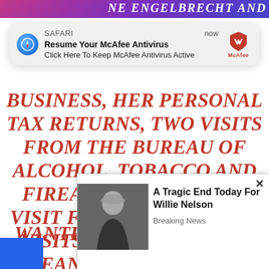NE ENGELBRECHT AND
[Figure (screenshot): Safari browser push notification popup showing 'Resume Your McAfee Antivirus - Click Here To Keep McAfee Antivirus Active' with McAfee logo]
BUSINESS, HER PERSONAL TAX RETURNS, TWO VISITS FROM THE BUREAU OF ALCOHOL, TOBACCO AND FIREARMS, A SURPRISE VISIT FROM OSHA, SEVEN VISITS FROM THE FBI. I MEAN, THESE ARE NOT COINCIDENCES. AND SO WE WANTED TO KNOW WHAT ROLE
[Figure (screenshot): Ad popup showing a photo of Willie Nelson with headline 'A Tragic End Today For Willie Nelson' and tag 'Breaking News']